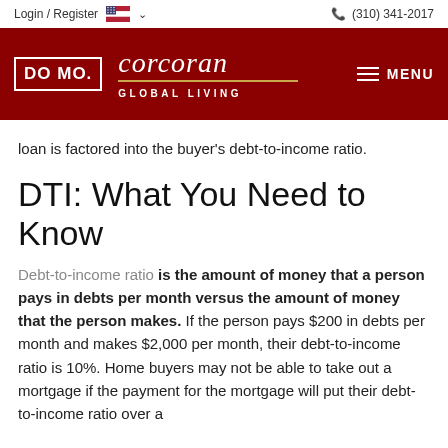Login / Register   (310) 341-2017
[Figure (logo): DO MO Corcoran Global Living logo on dark red background with MENU hamburger icon]
loan is factored into the buyer's debt-to-income ratio.
DTI: What You Need to Know
Debt-to-income ratio is the amount of money that a person pays in debts per month versus the amount of money that the person makes. If the person pays $200 in debts per month and makes $2,000 per month, their debt-to-income ratio is 10%. Home buyers may not be able to take out a mortgage if the payment for the mortgage will put their debt-to-income ratio over a